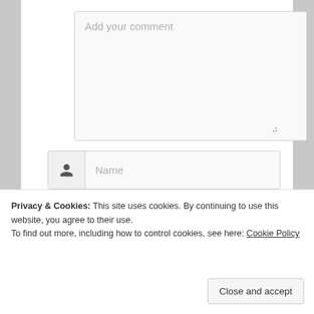[Figure (screenshot): Web form UI showing a comment textarea with placeholder 'Add your comment', followed by Name, Email, and Website input fields each with an icon on the left side]
Privacy & Cookies: This site uses cookies. By continuing to use this website, you agree to their use.
To find out more, including how to control cookies, see here: Cookie Policy
Close and accept